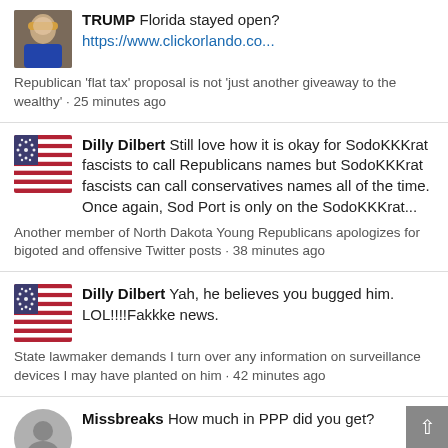TRUMP Florida stayed open? https://www.clickorlando.co...
Republican 'flat tax' proposal is not 'just another giveaway to the wealthy' · 25 minutes ago
Dilly Dilbert Still love how it is okay for SodoKKKrat fascists to call Republicans names but SodoKKKrat fascists can call conservatives names all of the time. Once again, Sod Port is only on the SodoKKKrat...
Another member of North Dakota Young Republicans apologizes for bigoted and offensive Twitter posts · 38 minutes ago
Dilly Dilbert Yah, he believes you bugged him. LOL!!!!Fakkke news.
State lawmaker demands I turn over any information on surveillance devices I may have planted on him · 42 minutes ago
Missbreaks How much in PPP did you get?